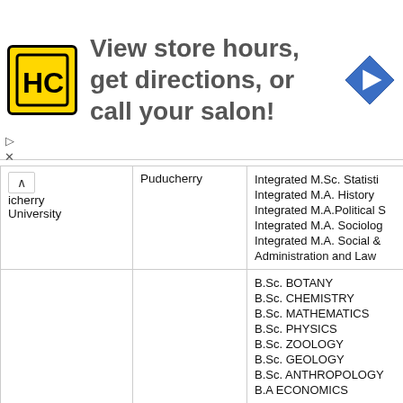[Figure (infographic): Advertisement banner: HC logo (yellow square with HC text), text 'View store hours, get directions, or call your salon!', blue diamond navigation icon, play and close controls on left side.]
| University | Location | Programs |
| --- | --- | --- |
| Puducherry University | Puducherry | Integrated M.Sc. Statistics
Integrated M.A. History
Integrated M.A.Political S
Integrated M.A. Sociology
Integrated M.A. Social & Administration and Law |
|  |  | B.Sc. BOTANY
B.Sc. CHEMISTRY
B.Sc. MATHEMATICS
B.Sc. PHYSICS
B.Sc. ZOOLOGY
B.Sc. GEOLOGY
B.Sc. ANTHROPOLOGY
B.A ECONOMICS |